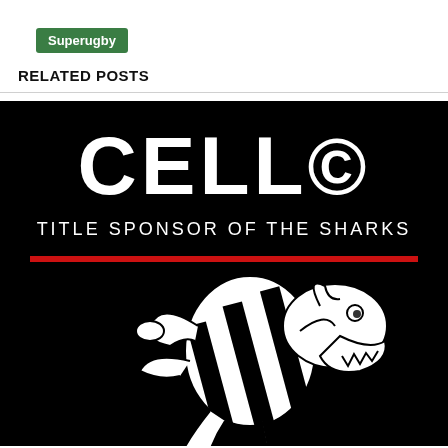Superugby
RELATED POSTS
[Figure (logo): Cell C — Title Sponsor of The Sharks logo on black background with red horizontal line and a cartoon shark mascot wearing a rugby jersey]